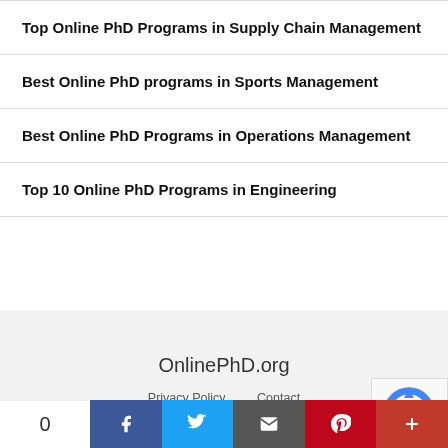Top Online PhD Programs in Supply Chain Management
Best Online PhD programs in Sports Management
Best Online PhD Programs in Operations Management
Top 10 Online PhD Programs in Engineering
OnlinePhD.org
Privacy Policy   Contact